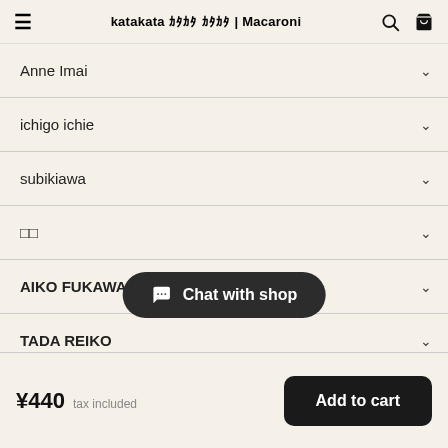katakata ｶﾀｶﾀ ｶﾀｶﾀ | Macaroni
Anne Imai
ichigo ichie
subikiawa
□□
AIKO FUKAWA
TADA REIKO
Violet&Claire
Chat with shop
¥440  tax included  Add to cart